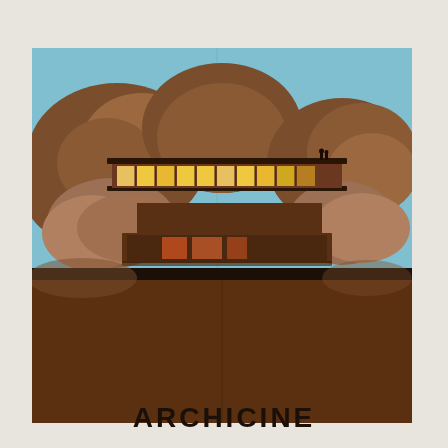[Figure (illustration): Architectural illustration poster showing a modernist building (flat-roofed, multi-level structure with illuminated interior windows) set against large brown rock formations, on a light blue sky background. The lower half is a solid brown earth/ground section separated by a black band. The poster has a vintage/aged texture with wood grain effect on the blue areas. The word ARCHICINE appears in bold black sans-serif letters at the bottom center of the poster.]
ARCHICINE